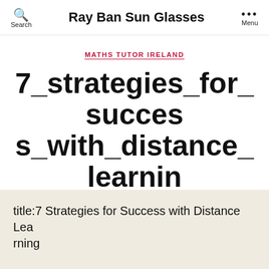Ray Ban Sun Glasses
MATHS TUTOR IRELAND
7_strategies_for_success_with_distance_learning
By Nathan Cox  January 16, 2014
title:7 Strategies for Success with Distance Learning